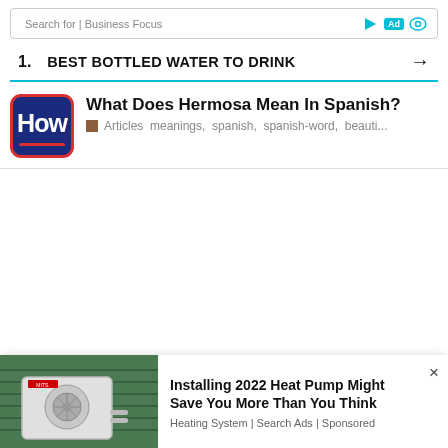Search for | Business Focus
1.   BEST BOTTLED WATER TO DRINK →
What Does Hermosa Mean In Spanish?
Articles  meanings,  spanish,  spanish-word,  beauti...
English Translation
[Figure (photo): A Mitsubishi outdoor heat pump unit mounted on a green-sided building wall]
Installing 2022 Heat Pump Might Save You More Than You Think
Heating System | Search Ads | Sponsored